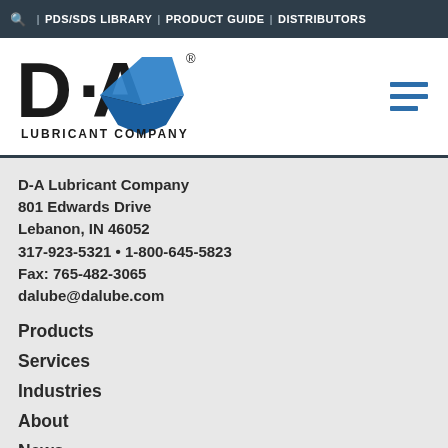🔍 | PDS/SDS LIBRARY | PRODUCT GUIDE | DISTRIBUTORS
[Figure (logo): D-A Lubricant Company logo with stylized D-A letters and blue water drop icon]
D-A Lubricant Company
801 Edwards Drive
Lebanon, IN 46052
317-923-5321 • 1-800-645-5823
Fax: 765-482-3065
dalube@dalube.com
Products
Services
Industries
About
News